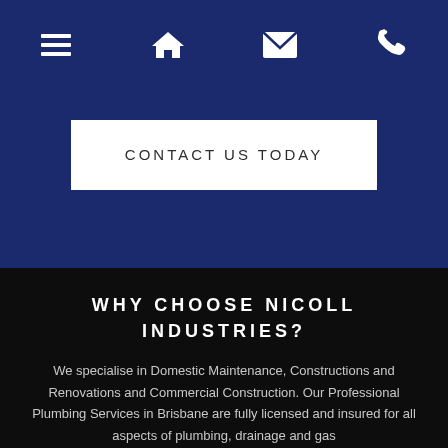Navigation bar with menu, home, email, and phone icons
CONTACT US TODAY
WHY CHOOSE NICOLL INDUSTRIES?
We specialise in Domestic Maintenance, Constructions and Renovations and Commercial Construction. Our Professional Plumbing Services in Brisbane are fully licensed and insured for all aspects of plumbing, drainage and gas